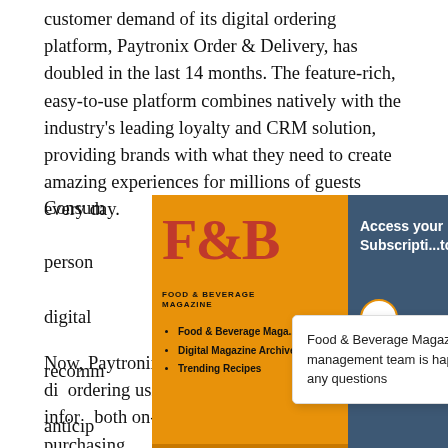customer demand of its digital ordering platform, Paytronix Order & Delivery, has doubled in the last 14 months. The feature-rich, easy-to-use platform combines natively with the industry's leading loyalty and CRM solution, providing brands with what they need to create amazing experiences for millions of guests every day.
Consumer... per-person... and digital... recomm... anticip... tenants... restaur...
[Figure (screenshot): F&B Food & Beverage Magazine popup overlay showing logo, navigation links (Food & Beverage Magazine, Digital Magazine Archive, Trending Recipes), FREE Click button, and an 'Access your FREE Subscription to the Go-' banner in dark blue. A secondary white chat popup reads 'Food & Beverage Magazine's asset management team is happy to help with any questions' with a dark red chat bubble icon.]
Now, Paytronix is bringing those experiences to digital ordering using AI-driven recommendations informing both on-premises and off-premises purchasing,